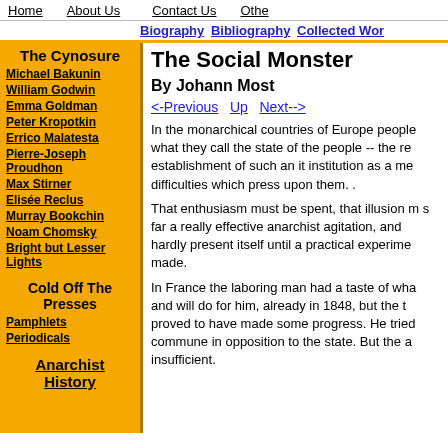Home   About Us   Contact Us   Othe
Biography  Bibliography  Collected Wor
The Social Monster
By Johann Most
<-Previous  Up  Next-->
The Cynosure
Michael Bakunin
William Godwin
Emma Goldman
Peter Kropotkin
Errico Malatesta
Pierre-Joseph Proudhon
Max Stirner
Elisée Reclus
Murray Bookchin
Noam Chomsky
Bright but Lesser Lights
Cold Off The Presses
Pamphlets
Periodicals
Anarchist History
In the monarchical countries of Europe people what they call the state of the people -- the re establishment of such an it institution as a me difficulties which press upon them. .
That enthusiasm must be spent, that illusion m s far a really effective anarchist agitation, and hardly present itself until a practical experime made.
In France the laboring man had a taste of wha and will do for him, already in 1848, but the t proved to have made some progress. He tried commune in opposition to the state. But the a insufficient.